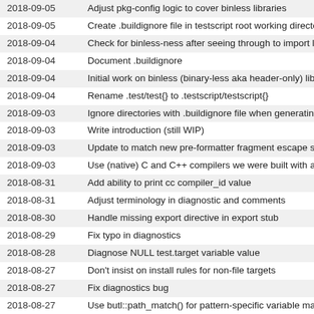2018-09-05  Adjust pkg-config logic to cover binless libraries
2018-09-05  Create .buildignore file in testscript root working directo
2018-09-04  Check for binless-ness after seeing through to import li
2018-09-04  Document .buildignore
2018-09-04  Initial work on binless (binary-less aka header-only) lib
2018-09-04  Rename .test/test{} to .testscript/testscript{}
2018-09-03  Ignore directories with .buildignore file when generating
2018-09-03  Write introduction (still WIP)
2018-09-03  Update to match new pre-formatter fragment escape s
2018-09-03  Use (native) C and C++ compilers we were built with a
2018-08-31  Add ability to print cc compiler_id value
2018-08-31  Adjust terminology in diagnostic and comments
2018-08-30  Handle missing export directive in export stub
2018-08-29  Fix typo in diagnostics
2018-08-28  Diagnose NULL test.target variable value
2018-08-27  Don't insist on install rules for non-file targets
2018-08-27  Fix diagnostics bug
2018-08-27  Use butl::path_match() for pattern-specific variable ma
2018-08-25  Implement missing pieces in utility libraries support
2018-08-22  Define BUILD2_BOOTSTRAP when compiling libbutl s
2018-08-22  Rework code to sidestep Clang 3.8 on FreeBSD 11.0 n
2018-08-22  Remove unnecessary move()'s
2018-08-21  Unset CL and _CL_ environment variables when detec
2018-08-21  Print 'ar' instead of 'ld' when building static libraries
2018-08-14  Use thin archives if available for utility libraries
2018-09-00  Fix tests some more